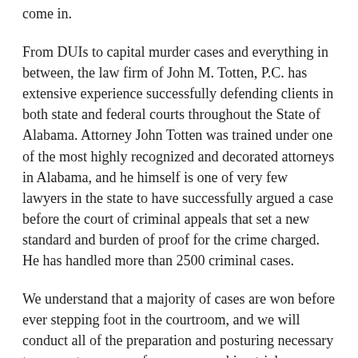come in.
From DUIs to capital murder cases and everything in between, the law firm of John M. Totten, P.C. has extensive experience successfully defending clients in both state and federal courts throughout the State of Alabama. Attorney John Totten was trained under one of the most highly recognized and decorated attorneys in Alabama, and he himself is one of very few lawyers in the state to have successfully argued a case before the court of criminal appeals that set a new standard and burden of proof for the crime charged. He has handled more than 2500 criminal cases.
We understand that a majority of cases are won before ever stepping foot in the courtroom, and we will conduct all of the preparation and posturing necessary to prevent your case from ever reaching trial. However, in cases that do proceed to trial, we employ an unmatched and unique desire to win, and will aggressively defend your rights using whatever means necessary ranging from traditional